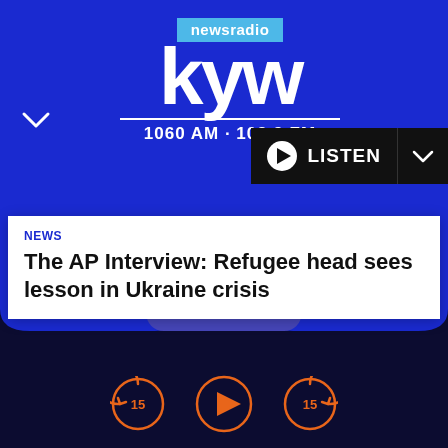[Figure (logo): KYW Newsradio logo with text 'newsradio kyw 1060 AM · 103.9 FM' on dark blue background]
NEWS
The AP Interview: Refugee head sees lesson in Ukraine crisis
KYW History
Get our Newsletter
Account update
EEO
Public Inspection File
Contest Rules
FCC Applications
[Figure (screenshot): View Guide button and audio player controls with rewind 15, play, and forward 15 buttons in orange on dark background]